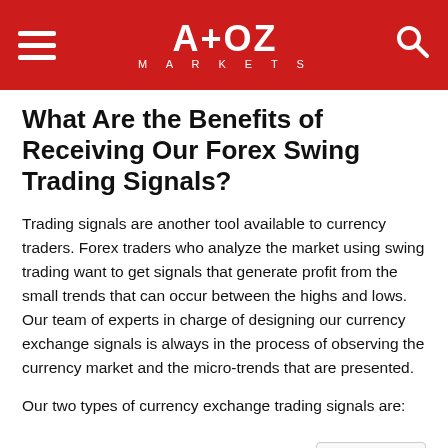A+OZ MARKETS
What Are the Benefits of Receiving Our Forex Swing Trading Signals?
Trading signals are another tool available to currency traders. Forex traders who analyze the market using swing trading want to get signals that generate profit from the small trends that can occur between the highs and lows. Our team of experts in charge of designing our currency exchange signals is always in the process of observing the currency market and the micro-trends that are presented.
Our two types of currency exchange trading signals are:
Those looking for a trend break.